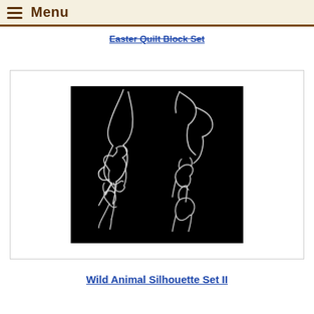Menu
Easter Quilt Block Set
[Figure (illustration): Black background illustration showing six wild animal silhouettes drawn in white line art style: an oryx/gemsbok with long horns (top left), a bird (top right), two deer/elk with antlers (middle row), and two deer/antelope (bottom row).]
Wild Animal Silhouette Set II